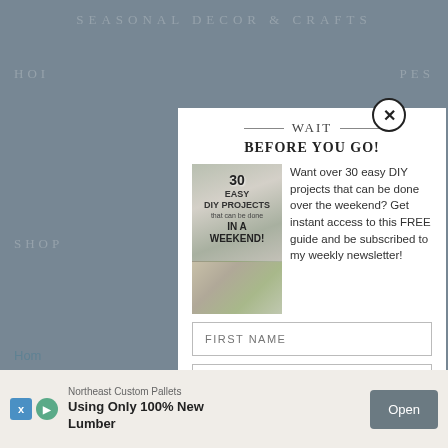SEASONAL DECOR & CRAFTS
[Figure (screenshot): Website screenshot background showing navigation for seasonal decor & crafts blog with greyed-out nav links HOMe, PES, SHOP, ECTS]
[Figure (infographic): Popup modal showing a DIY projects guide book cover with text: 30 EASY DIY PROJECTS that can be done IN A WEEKEND!]
WAIT
BEFORE YOU GO!
Want over 30 easy DIY projects that can be done over the weekend? Get instant access to this FREE guide and be subscribed to my weekly newsletter!
FIRST NAME
EMAIL ADDRESS
SIGN ME UP NOW!
Northeast Custom Pallets
Using Only 100% New Lumber
Open